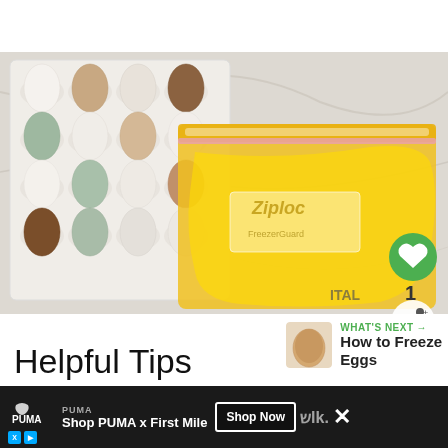[Figure (photo): Overhead photo showing a white egg carton with multicolored eggs (white, beige, brown, blue-green) on a marble surface, alongside a yellow Ziploc freezer bag containing beaten eggs]
Helpful Tips
[Figure (photo): WHAT'S NEXT thumbnail showing a single egg, with text 'How to Freeze Eggs']
WHAT'S NEXT → How to Freeze Eggs
[Figure (photo): Advertisement banner: PUMA - Shop PUMA x First Mile - Shop Now button]